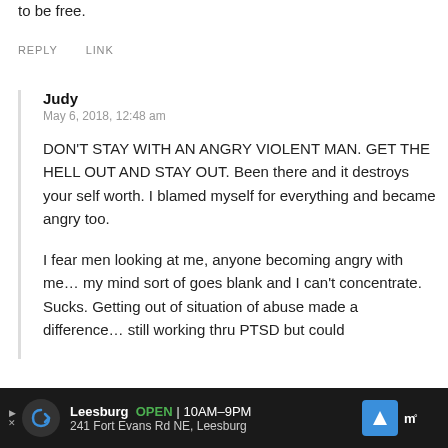to be free.
REPLY   LINK
Judy
May 6, 2018, 12:48 am
DON’T STAY WITH AN ANGRY VIOLENT MAN. GET THE HELL OUT AND STAY OUT. Been there and it destroys your self worth. I blamed myself for everything and became angry too.
I fear men looking at me, anyone becoming angry with me… my mind sort of goes blank and I can’t concentrate. Sucks. Getting out of situation of abuse made a difference… still working thru PTSD but could
Leesburg  OPEN | 10AM–9PM  241 Fort Evans Rd NE, Leesburg